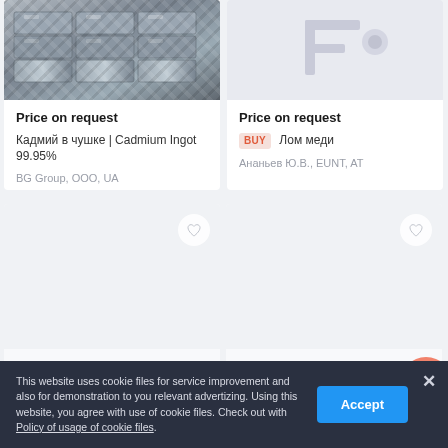[Figure (photo): Photo of metallic cadmium ingots stacked together]
Price on request
Кадмий в чушке | Cadmium Ingot 99.95%
BG Group, ООО, UA
[Figure (photo): Placeholder image for copper scrap listing]
Price on request
BUY Лом меди
Ананьев Ю.В., EUNT, AT
[Figure (photo): Product listing card with 4 photos, heart icon]
[Figure (photo): Product listing card with 4 photos, heart icon, orange circle]
This website uses cookie files for service improvement and also for demonstration to you relevant advertizing. Using this website, you agree with use of cookie files. Check out with Policy of usage of cookie files.
Accept